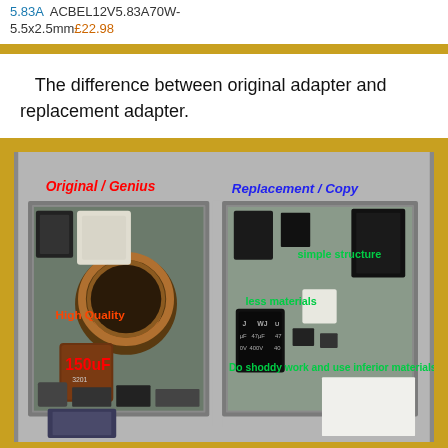5.83A  ACBEL12V5.83A70W-5.5x2.5mm£22.98
The difference between original adapter and replacement adapter.
[Figure (photo): Side-by-side comparison photo of two opened power adapters. Left side labeled 'Original / Genius' in red italic bold with annotation 'High Quality' in red and '150uF' in red bold. Right side labeled 'Replacement / Copy' in blue italic bold with annotations 'simple structure' in green, 'less materials' in green, and 'Do shoddy work and use inferior materials' in green. The original adapter shows a large toroidal inductor coil (copper), large capacitors, and dense components. The replacement shows sparse components with smaller capacitors labeled 47uF 400V.]